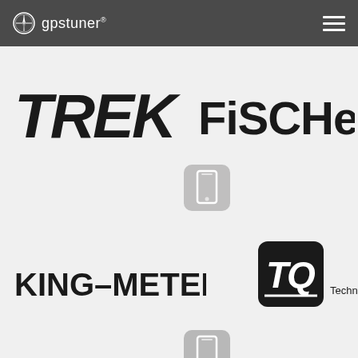gpstuner
[Figure (logo): TREK brand logo in bold black italic font]
[Figure (logo): FISCHER brand logo in bold black font]
[Figure (illustration): Phone/device icon in gray rounded square]
[Figure (illustration): Phone/device icon in gray rounded square]
[Figure (logo): KING-METER brand logo in bold black font]
[Figure (logo): TQ Technology in Quality logo - black rounded square with TQ monogram and text]
[Figure (illustration): Phone/device icon in gray rounded square]
[Figure (illustration): Small device/computer icon in gray rounded square]
[Figure (illustration): Phone/device icon in gray rounded square]
[Figure (illustration): Bar chart icon in gray rounded square]